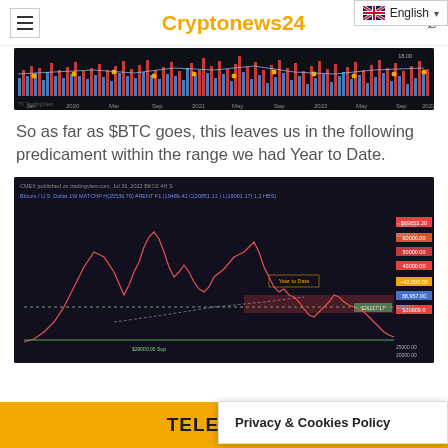Cryptonews24
[Figure (screenshot): Bitcoin price chart from TradingView showing historical BTC price data from 2019 to 2022 with volume bars at the top]
So as far as $BTC goes, this leaves us in the following predicament within the range we had Year to Date.
[Figure (screenshot): Bitcoin / US Dollar 1W TradingView chart showing BTC price range Year to Date with price levels marked including support and resistance zones around $29000-$69000]
TELEGRAM
Privacy & Cookies Policy